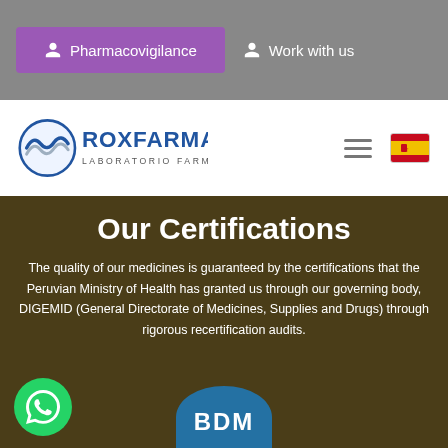Pharmacovigilance | Work with us
[Figure (logo): Roxfarma Laboratorio Farmacéutico logo with circular wave icon in blue and grey]
Our Certifications
The quality of our medicines is guaranteed by the certifications that the Peruvian Ministry of Health has granted us through our governing body, DIGEMID (General Directorate of Medicines, Supplies and Drugs) through rigorous recertification audits.
[Figure (logo): BDM circular blue badge at bottom center of page]
[Figure (illustration): WhatsApp green circular button at bottom left]